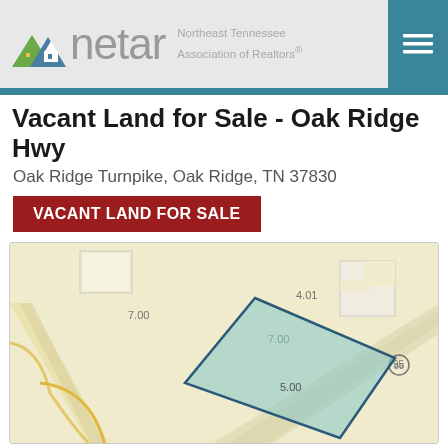netar — Northeast Tennessee Association of Realtors®
Vacant Land for Sale - Oak Ridge Hwy
Oak Ridge Turnpike, Oak Ridge, TN 37830
VACANT LAND FOR SALE
[Figure (map): Parcel map showing a highlighted teal quadrilateral plot of land on Oak Ridge Turnpike, Oak Ridge, TN. Surrounding parcels labeled with acreage numbers: 7.00, 7.00, 4.01, 5.00. Road visible at bottom right corner with route marker 95.]